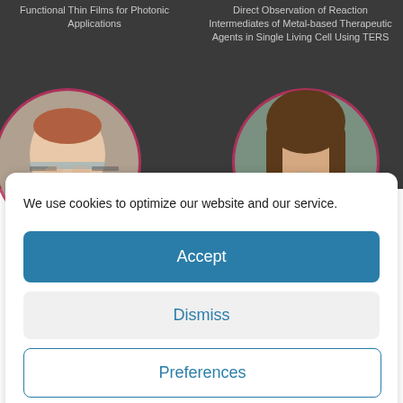Functional Thin Films for Photonic Applications
Direct Observation of Reaction Intermediates of Metal-based Therapeutic Agents in Single Living Cell Using TERS
[Figure (photo): Circular portrait photo of a woman with red hair and glasses, outlined with a pink/red border, on a dark background]
[Figure (photo): Circular portrait photo of a man with long brown hair, outlined with a pink/red border, on a dark background]
We use cookies to optimize our website and our service.
Accept
Dismiss
Preferences
Cookie Policy   Privacy Policy